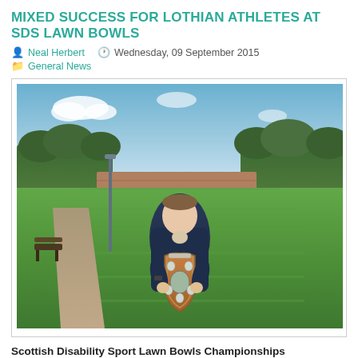MIXED SUCCESS FOR LOTHIAN ATHLETES AT SDS LAWN BOWLS
Neal Herbert   Wednesday, 09 September 2015
General News
[Figure (photo): A man standing on a lawn bowls green holding a wooden shield trophy. Green grass and trees visible in the background with a footpath to the left.]
Scottish Disability Sport Lawn Bowls Championships